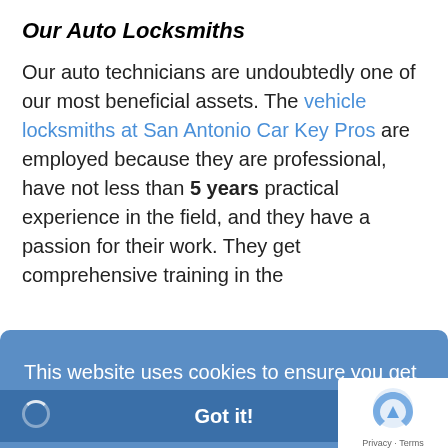Our Auto Locksmiths
Our auto technicians are undoubtedly one of our most beneficial assets. The vehicle locksmiths at San Antonio Car Key Pros are employed because they are professional, have not less than 5 years practical experience in the field, and they have a passion for their work. They get comprehensive training in the
This website uses cookies to ensure you get the best experience on our website. Learn more
Got it!
and insured and know San Antonio, Texas well.